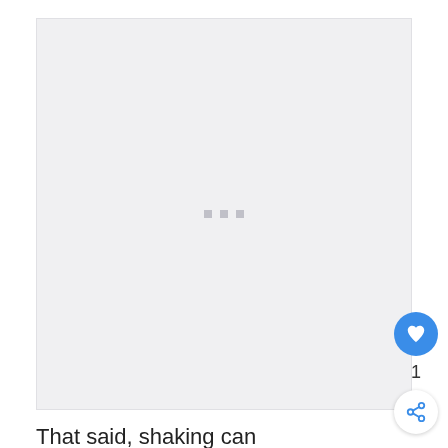[Figure (photo): Light gray placeholder image area with three small gray square dots centered in the middle, indicating an image loading state.]
That said, shaking can SOMETIMES mean that they are cold. Those fast metabolisms come at a price, so keep a spare blanket